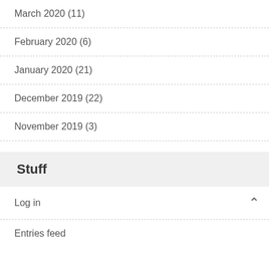March 2020 (11)
February 2020 (6)
January 2020 (21)
December 2019 (22)
November 2019 (3)
Stuff
Log in
Entries feed